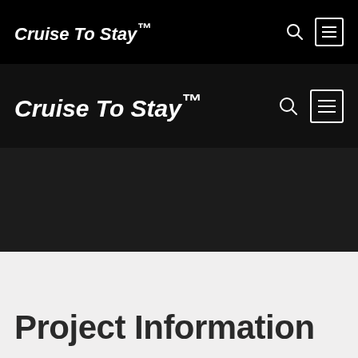Cruise To Stay™
Cruise To Stay™
Project Information